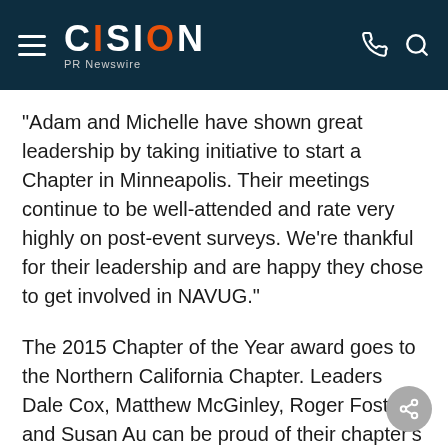CISION PR Newswire
"Adam and Michelle have shown great leadership by taking initiative to start a Chapter in Minneapolis. Their meetings continue to be well-attended and rate very highly on post-event surveys. We're thankful for their leadership and are happy they chose to get involved in NAVUG."
The 2015 Chapter of the Year award goes to the Northern California Chapter. Leaders Dale Cox, Matthew McGinley, Roger Foster, and Susan Au can be proud of their chapter's accomplishments as they continue to deliver quality education and training while facilitating a prosperous networking